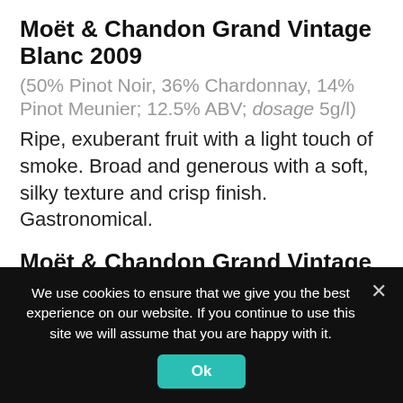Moët & Chandon Grand Vintage Blanc 2009
(50% Pinot Noir, 36% Chardonnay, 14% Pinot Meunier; 12.5% ABV; dosage 5g/l)
Ripe, exuberant fruit with a light touch of smoke. Broad and generous with a soft, silky texture and crisp finish. Gastronomical.
Moët & Chandon Grand Vintage Rosé 2009
(59% Pinot Noir [19% of which is red wine], 30% Chardonnay, 11% Pinot Meunier; 12.5% ABV; dosage 5g/l)
Fleshy red raspberry, spice, and biscuit on the
We use cookies to ensure that we give you the best experience on our website. If you continue to use this site we will assume that you are happy with it.